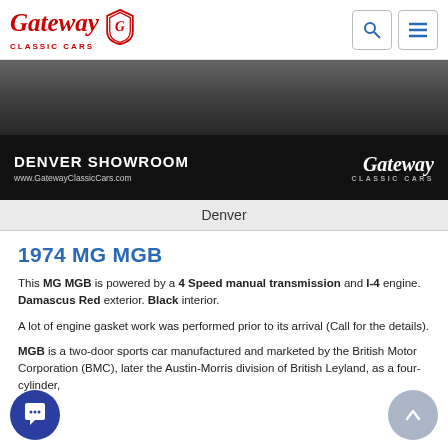[Figure (logo): Gateway Classic Cars logo with red script text and shield emblem]
[Figure (photo): Denver Showroom banner with dark background, showing DENVER SHOWROOM text, www.GatewayClassicCars.com URL, and Gateway Classic Cars script logo on right]
Denver
1974 MG MGB
This MG MGB is powered by a 4 Speed manual transmission and I-4 engine. Damascus Red exterior. Black interior.
A lot of engine gasket work was performed prior to its arrival (Call for the details).
MGB is a two-door sports car manufactured and marketed by the British Motor Corporation (BMC), later the Austin-Morris division of British Leyland, as a four-cylinder,